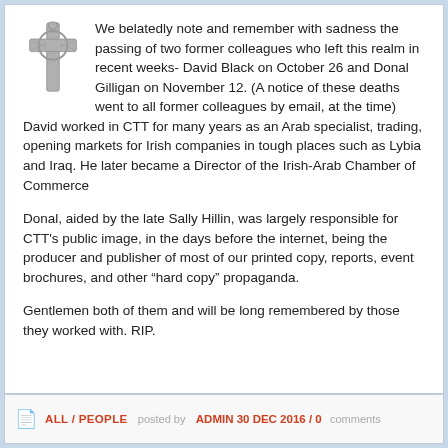We belatedly note and remember with sadness the passing of two former colleagues who left this realm in recent weeks- David Black on October 26 and Donal Gilligan on November 12. (A notice of these deaths went to all former colleagues by email, at the time)
David worked in CTT for many years as an Arab specialist, trading, opening markets for Irish companies in tough places such as Lybia and Iraq. He later became a Director of the Irish-Arab Chamber of Commerce
Donal, aided by the late Sally Hillin, was largely responsible for CTT's public image, in the days before the internet, being the producer and publisher of most of our printed copy, reports, event brochures, and other “hard copy” propaganda.
Gentlemen both of them and will be long remembered by those they worked with. RIP.
ALL / PEOPLE  posted by ADMIN 30 DEC 2016 / 0 comments